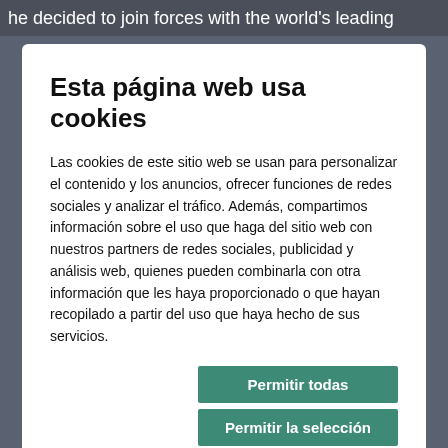he decided to join forces with the world's leading
Esta página web usa cookies
Las cookies de este sitio web se usan para personalizar el contenido y los anuncios, ofrecer funciones de redes sociales y analizar el tráfico. Además, compartimos información sobre el uso que haga del sitio web con nuestros partners de redes sociales, publicidad y análisis web, quienes pueden combinarla con otra información que les haya proporcionado o que hayan recopilado a partir del uso que haya hecho de sus servicios.
Permitir todas
Permitir la selección
Denegar
| ✓ Necesario | Preferencias | Mostrar detalles ∨ |
| Estadística | Marketing |  |